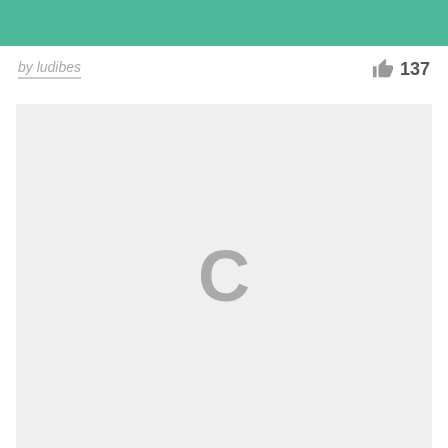[Figure (other): Teal/green colored banner strip at top of page]
by ludibes
137
[Figure (other): Light gray content area with a large gray letter C in the center, indicating a loading spinner or placeholder]